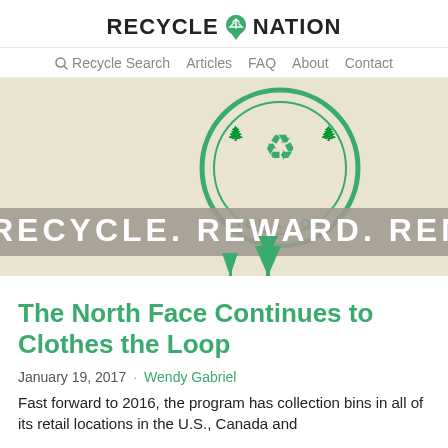RECYCLE NATION
Recycle Search  Articles  FAQ  About  Contact
[Figure (illustration): Clothes the Loop program logo (circular badge with recycling icon and text 'THE LOOP') on a beige background with banner text 'RECYCLE. REWARD. RENEW.' and small green tree silhouettes at the bottom.]
The North Face Continues to Clothes the Loop
January 19, 2017 · Wendy Gabriel
Fast forward to 2016, the program has collection bins in all of its retail locations in the U.S., Canada and